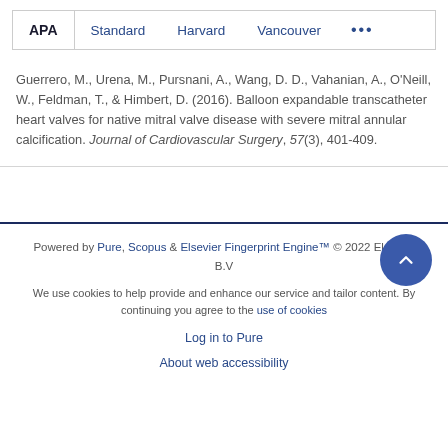APA | Standard | Harvard | Vancouver | ...
Guerrero, M., Urena, M., Pursnani, A., Wang, D. D., Vahanian, A., O'Neill, W., Feldman, T., & Himbert, D. (2016). Balloon expandable transcatheter heart valves for native mitral valve disease with severe mitral annular calcification. Journal of Cardiovascular Surgery, 57(3), 401-409.
Powered by Pure, Scopus & Elsevier Fingerprint Engine™ © 2022 Elsevier B.V
We use cookies to help provide and enhance our service and tailor content. By continuing you agree to the use of cookies
Log in to Pure
About web accessibility